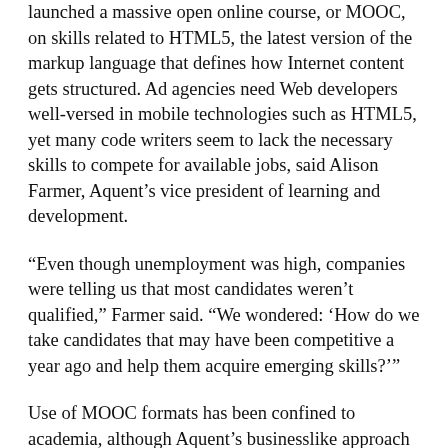launched a massive open online course, or MOOC, on skills related to HTML5, the latest version of the markup language that defines how Internet content gets structured. Ad agencies need Web developers well-versed in mobile technologies such as HTML5, yet many code writers seem to lack the necessary skills to compete for available jobs, said Alison Farmer, Aquent’s vice president of learning and development.
“Even though unemployment was high, companies were telling us that most candidates weren’t qualified,” Farmer said. “We wondered: ‘How do we take candidates that may have been competitive a year ago and help them acquire emerging skills?’”
Use of MOOC formats has been confined to academia, although Aquent’s businesslike approach could signal a shift in how corporate training is delivered. MOOC providers — Coursera, EdX and Udacity, all of which are start-ups — are locking up agreements for learning content with prestigious academic universities, including Harvard, MIT, Princeton and Stanford. Even well-established software company Blackboard has entered the space, with an eye on the MOOC medi...